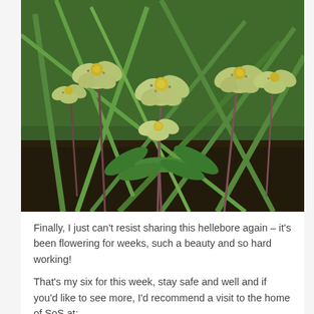[Figure (photo): A hellebore plant with pale yellow-green flowers with purple speckles, growing in dark soil with green foliage in the background.]
Finally, I just can't resist sharing this hellebore again – it's been flowering for weeks, such a beauty and so hard working!
That's my six for this week, stay safe and well and if you'd like to see more, I'd recommend a visit to the home of SoS at:
https://thepropagatorblog.wordpress.com/2017/09/18/six